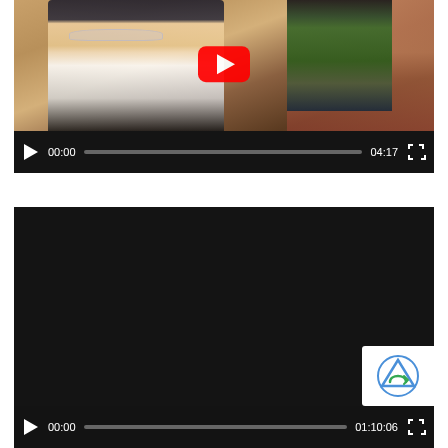[Figure (screenshot): Video player 1: YouTube embedded video showing a woman smiling with sunglasses while someone does her hair outdoors. Video controls show 00:00 current time and 04:17 total duration with a progress bar.]
[Figure (screenshot): Video player 2: Dark/black video player with no thumbnail content visible. Video controls show 00:00 current time and 01:10:06 total duration with a progress bar. A reCAPTCHA badge is visible in the bottom-right corner.]